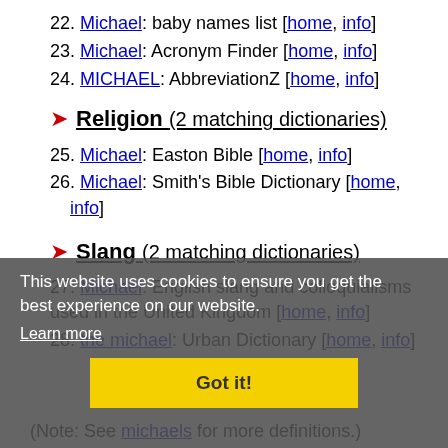22. Michael: baby names list [home, info]
23. Michael: Acronym Finder [home, info]
24. MICHAEL: AbbreviationZ [home, info]
Religion (2 matching dictionaries)
25. Michael: Easton Bible [home, info]
26. Michael: Smith's Bible Dictionary [home, info]
Slang (2 matching dictionaries)
27. Michael: English slang and colloquialisms used in the United Kingdom [home, info]
28. the michael: Urban Dictionary [home, info]
(Note: See michaels for more definitions.)